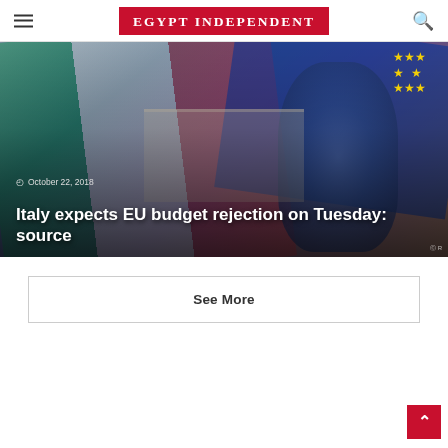EGYPT INDEPENDENT
[Figure (photo): Hero image showing EU and Italian flags with a person painted blue overlaid with article headline 'Italy expects EU budget rejection on Tuesday: source' dated October 22, 2018]
Italy expects EU budget rejection on Tuesday: source
October 22, 2018
See More